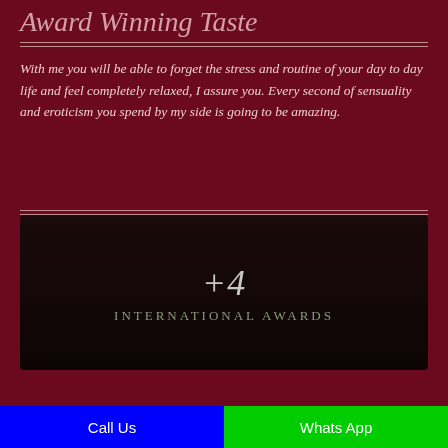Award Winning Taste
With me you will be able to forget the stress and routine of your day to day life and feel completely relaxed, I assure you. Every second of sensuality and eroticism you spend by my side is going to be amazing.
[Figure (infographic): Dark banner box showing '+4' in large italic text above 'INTERNATIONAL AWARDS' in spaced uppercase letters on a near-black background]
Call Us
Whats App